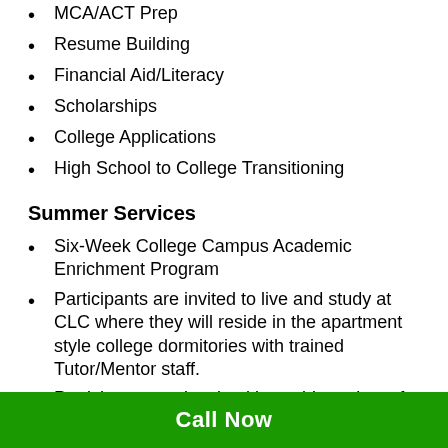MCA/ACT Prep
Resume Building
Financial Aid/Literacy
Scholarships
College Applications
High School to College Transitioning
Summer Services
Six-Week College Campus Academic Enrichment Program
Participants are invited to live and study at CLC where they will reside in the apartment style college dormitories with trained Tutor/Mentor staff.
Participants are involved in a wide variety of pre-
Call Now